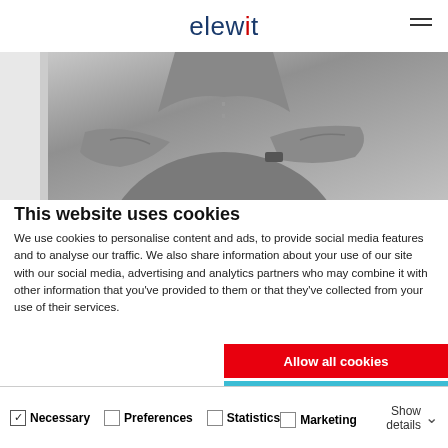elewit
[Figure (photo): Black and white photo of a person with arms crossed, wearing a button-up shirt]
This website uses cookies
We use cookies to personalise content and ads, to provide social media features and to analyse our traffic. We also share information about your use of our site with our social media, advertising and analytics partners who may combine it with other information that you've provided to them or that they've collected from your use of their services.
Allow all cookies
Allow selection
Use necessary cookies only
Necessary  Preferences  Statistics  Marketing  Show details